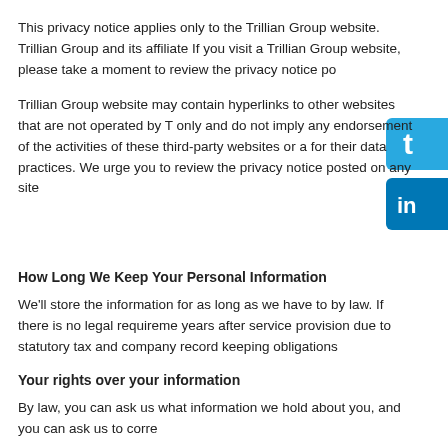This privacy notice applies only to the Trillian Group website. Trillian Group and its affiliate If you visit a Trillian Group website, please take a moment to review the privacy notice po
Trillian Group website may contain hyperlinks to other websites that are not operated by T only and do not imply any endorsement of the activities of these third-party websites or a for their data practices. We urge you to review the privacy notice posted on any site
[Figure (logo): Twitter social media icon button - blue rounded rectangle with white 't' letter]
[Figure (logo): LinkedIn social media icon button - blue rounded rectangle with white 'in' letters]
How Long We Keep Your Personal Information
We'll store the information for as long as we have to by law. If there is no legal requireme years after service provision due to statutory tax and company record keeping obligations
Your rights over your information
By law, you can ask us what information we hold about you, and you can ask us to corre
You can also ask us to give you a copy of the information, to restrict use of information or
To submit a request by email or post please use the contact information provided above.
Questions About Our Privacy Notice
If you have any questions about this privacy notice, you can contact us by email at this